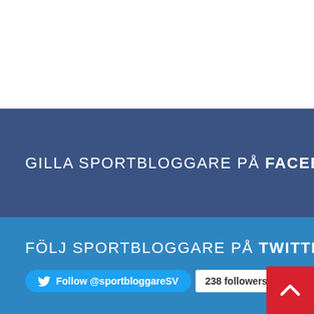GILLA SPORTBLOGGARE PÅ FACEBOOK
FÖLJ SPORTBLOGGARE PÅ TWITTER
Follow @sportbloggareSV  238 followers